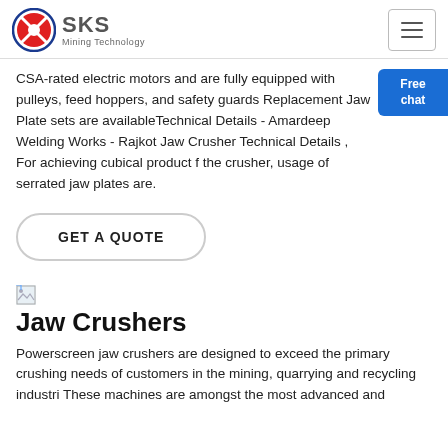[Figure (logo): SKS Mining Technology logo with red and blue circular emblem and grey text]
CSA-rated electric motors and are fully equipped with pulleys, feed hoppers, and safety guards Replacement Jaw Plate sets are availableTechnical Details - Amardeep Welding Works - Rajkot Jaw Crusher Technical Details , For achieving cubical product f the crusher, usage of serrated jaw plates are.
GET A QUOTE
[Figure (illustration): Broken/placeholder image icon]
Jaw Crushers
Powerscreen jaw crushers are designed to exceed the primary crushing needs of customers in the mining, quarrying and recycling industri These machines are amongst the most advanced and